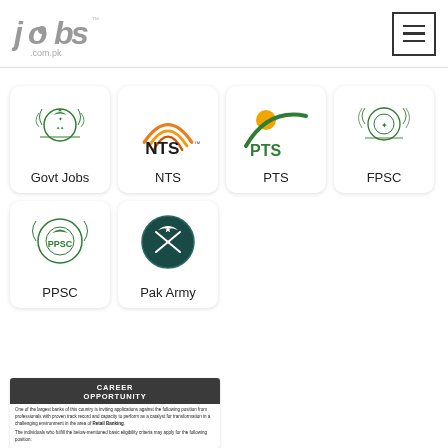jobs.com.pk
[Figure (logo): PPSC logo - Punjab Public Service Commission emblem in green]
Govt Jobs
[Figure (logo): NTS logo - National Testing Service with orange arcs]
NTS
[Figure (logo): PTS logo - Pakistan Testing Service with yellow sun and green swoosh]
PTS
[Figure (logo): FPSC logo - Federal Public Service Commission emblem in green]
FPSC
[Figure (logo): PPSC logo - Punjab Public Service Commission seal in green]
PPSC
[Figure (logo): Pak Army logo - dark teal circle with crescent and crossed swords]
Pak Army
[Figure (screenshot): Career Opportunity newspaper clipping with dark header and small text about banking positions]